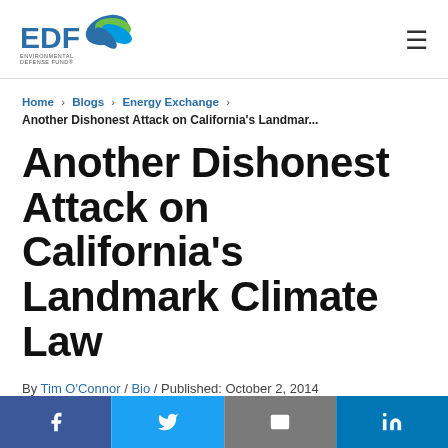EDF Environmental Defense Fund logo
Home > Blogs > Energy Exchange > Another Dishonest Attack on California’s Landmar…
Another Dishonest Attack on California’s Landmark Climate Law
By Tim O’Connor / Bio / Published: October 2, 2014
Facebook | Twitter | Email | LinkedIn social share buttons